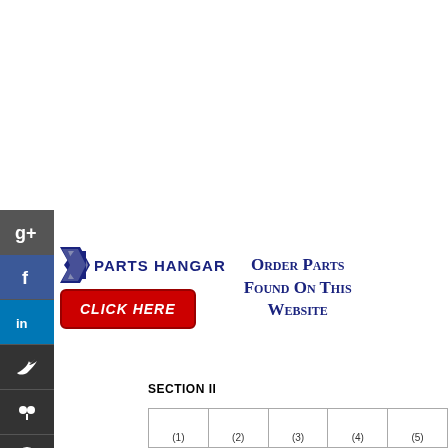[Figure (logo): Parts Hangar logo with chevron graphic and 'PARTS HANGAR' text, plus red 'CLICK HERE' button]
Order Parts Found On This Website
SECTION II
| (1) | (2) | (3) | (4) | (5) |
| --- | --- | --- | --- | --- |